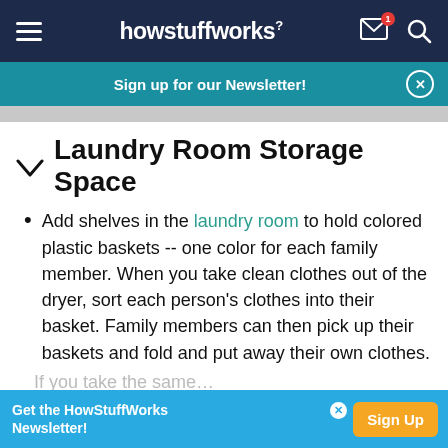howstuffworks
Sign up for our Newsletter!
Laundry Room Storage Space
Add shelves in the laundry room to hold colored plastic baskets -- one color for each family member. When you take clean clothes out of the dryer, sort each person's clothes into their basket. Family members can then pick up their baskets and fold and put away their own clothes.
Get the HowStuffWorks Newsletter!
Sign Up